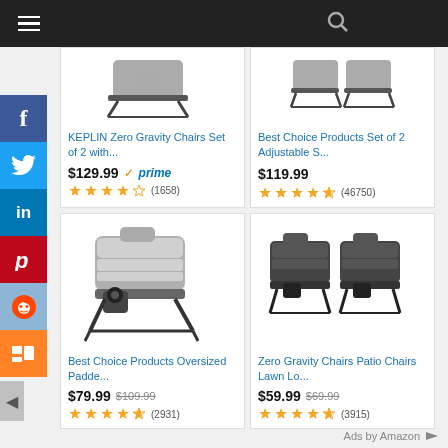[Figure (screenshot): Mobile web browser screenshot showing Amazon product ads. Top navigation bar with hamburger menu and search icon. Left social media sharing sidebar with Facebook, Twitter, LinkedIn, Pinterest, Reddit, Mix icons. Four product cards in a 2x2 grid showing zero gravity chairs.]
KEPLIN Zero Gravity Chairs Set of 2 with...
$129.99 prime (1658 reviews, 4 stars)
Best Choice Products Set of 2 Adjustable S...
$119.99 (46750 reviews, 4.5 stars)
Best Choice Products Oversized Padde...
$79.99 $109.99 (2931 reviews, 4.5 stars)
Zero Gravity Chairs Patio Chairs Lawn Lo...
$59.99 $69.99 (3915 reviews, 4.5 stars)
Ads by Amazon